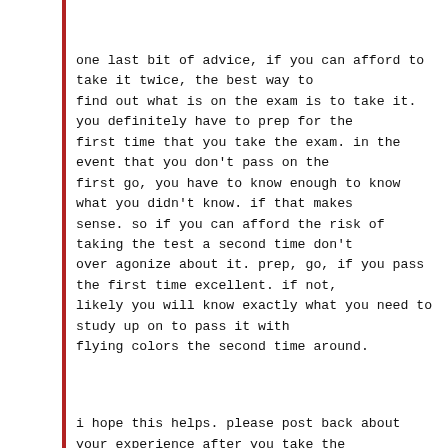one last bit of advice, if you can afford to take it twice, the best way to find out what is on the exam is to take it. you definitely have to prep for the first time that you take the exam. in the event that you don't pass on the first go, you have to know enough to know what you didn't know. if that makes sense. so if you can afford the risk of taking the test a second time don't over agonize about it. prep, go, if you pass the first time excellent. if not, likely you will know exactly what you need to study up on to pass it with flying colors the second time around.
i hope this helps. please post back about your experience after you take the exam.
and anyone else who has taken the exam. please post your impressions too.